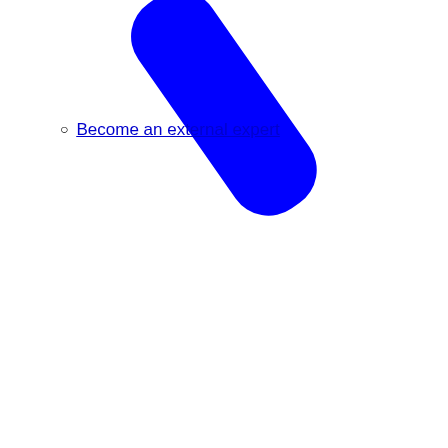[Figure (illustration): Decorative blue rounded rectangle shape, rotated diagonally, partially cut off at top of page]
Become an external expert
[Figure (illustration): Decorative blue rounded rectangle shape, rotated diagonally, larger, extending from middle to bottom of page]